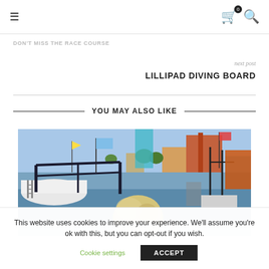≡  [cart: 0]  [search]
DON'T MISS THE RACE COURSE
next post
LILLIPAD DIVING BOARD
YOU MAY ALSO LIKE
[Figure (photo): Marina scene with boats, flags, and a person with blonde hair in the foreground viewed from behind, with a boat canopy frame visible.]
This website uses cookies to improve your experience. We'll assume you're ok with this, but you can opt-out if you wish.
Cookie settings   ACCEPT